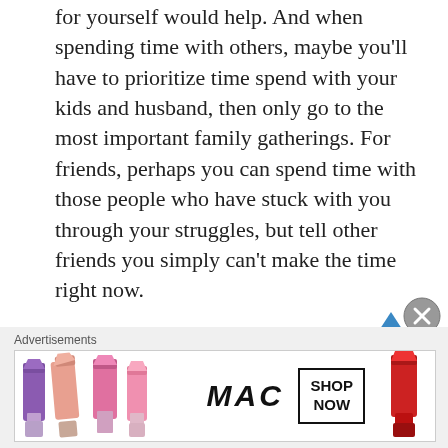for yourself would help. And when spending time with others, maybe you'll have to prioritize time spend with your kids and husband, then only go to the most important family gatherings. For friends, perhaps you can spend time with those people who have stuck with you through your struggles, but tell other friends you simply can't make the time right now.

Finally, I want to share something Antonia Dodge wrote for Personality Hacker. She says, ("With Ho...
[Figure (illustration): MAC cosmetics advertisement banner showing lipsticks in purple, peach, and pink colors on the left, MAC brand name in the center, SHOP NOW button in a box, and a red lipstick on the right.]